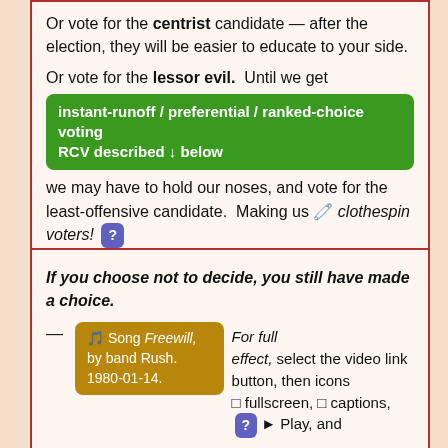Or vote for the centrist candidate — after the election, they will be easier to educate to your side.
Or vote for the lessor evil. Until we get
instant-runoff / preferential / ranked-choice voting RCV described ↓ below
we may have to hold our noses, and vote for the least-offensive candidate. Making us 🧷 clothespin voters! [?]
Or vote for the woman, young person or non-traditional candidate!
If you choose not to decide, you still have made a choice.
— 🎵 Song Freewill, by band Rush. 1980-01-14. For full effect, select the video link button, then icons □ fullscreen, □ captions, [?] ► Play, and